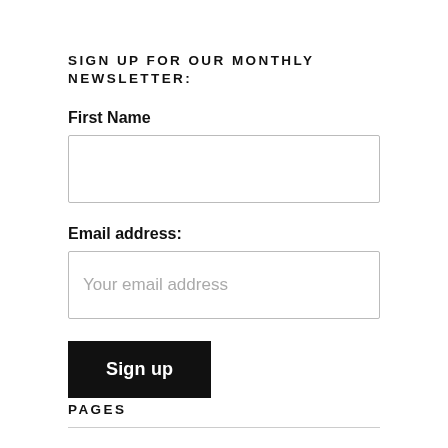SIGN UP FOR OUR MONTHLY NEWSLETTER:
First Name
Email address:
Your email address
Sign up
PAGES